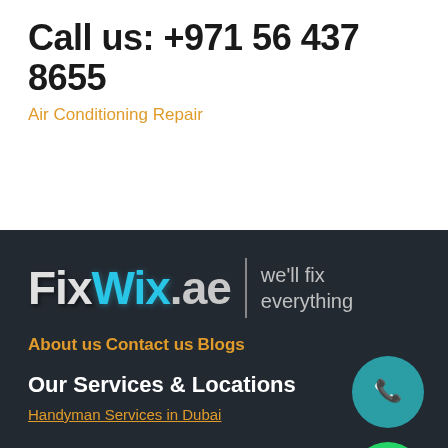Call us: +971 56 437 8655
Air Conditioning Repair
[Figure (logo): FixWix.ae logo with tagline 'we'll fix everything' on dark background]
About us
Contact us
Blogs
Our Services & Locations
Handyman Services in Dubai